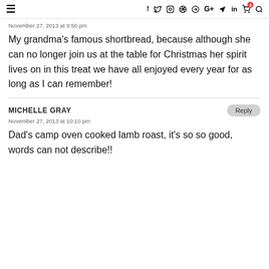≡  f  Twitter  Instagram  Pinterest  G+  YouTube  in  Cart(0)  Search
November 27, 2013 at 9:50 pm
My grandma's famous shortbread, because although she can no longer join us at the table for Christmas her spirit lives on in this treat we have all enjoyed every year for as long as I can remember!
MICHELLE GRAY
November 27, 2013 at 10:10 pm
Dad's camp oven cooked lamb roast, it's so so good, words can not describe!!